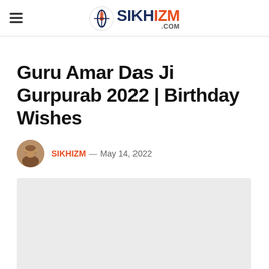SIKHIZM .COM
Guru Amar Das Ji Gurpurab 2022 | Birthday Wishes
SIKHIZM — May 14, 2022
[Figure (photo): Featured article image placeholder — light gray rectangle]